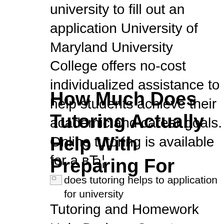university to fill out an application University of Maryland University College offers no-cost individualized assistance to help students achieve their academic and career goals. Online tutoring is available for a в…
How Much Does Tutoring Actually Help With Preparing For
[Figure (photo): Broken image placeholder with alt text: does tutoring helps to application for university]
Tutoring and Homework Help Durham County Library. Dr. Baltz is a dermatologist and was intricatley